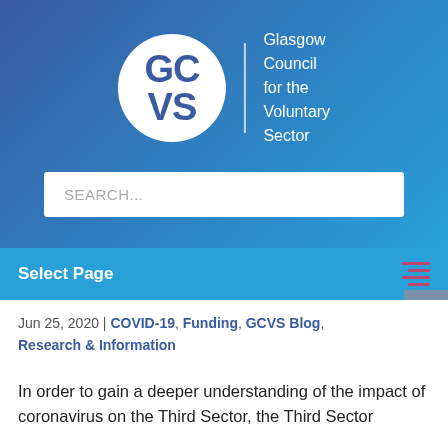[Figure (logo): GCVS logo with circle containing 'GC VS' text and 'Glasgow Council for the Voluntary Sector' text to the right]
SEARCH...
Select Page
Jun 25, 2020 | COVID-19, Funding, GCVS Blog, Research & Information
In order to gain a deeper understanding of the impact of coronavirus on the Third Sector, the Third Sector